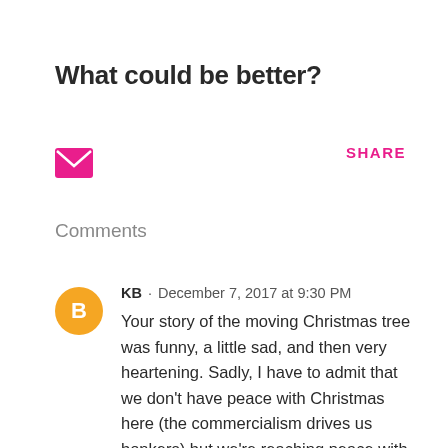What could be better?
[Figure (illustration): Pink envelope/email icon]
SHARE
Comments
KB · December 7, 2017 at 9:30 PM
Your story of the moving Christmas tree was funny, a little sad, and then very heartening. Sadly, I have to admit that we don't have peace with Christmas here (the commercialism drives us bonkers) but we're reaching peace with the fact that we're different from most of the rest of the world. And our nephews are growing up so the